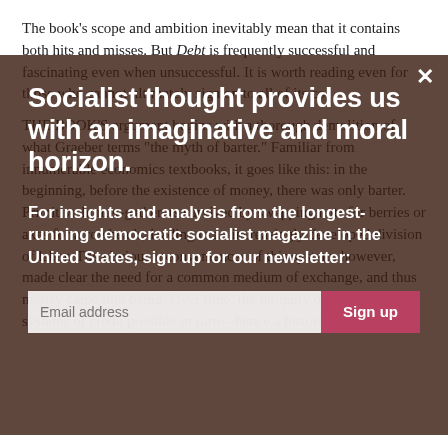The book's scope and ambition inevitably mean that it contains both hits and misses. But Debt is frequently successful and fascinating even when unsuccessful. It is worth reading even for those who cannot ultimately sign on to all of its co...
[Figure (screenshot): Dark overlay modal dialog over article text, showing a newsletter sign-up prompt with headline 'Socialist thought provides us with an imaginative and moral horizon.' and subheading 'For insights and analysis from the longest-running democratic socialist magazine in the United States, sign up for our newsletter:' with an email input and Sign up button.]
THE BOOK'S argument begins with a thorough demolition of what Graeber terms "the myth of barter." Familiar from innumerable economics textbooks, it goes like this: in the beginning, before the existence of money, there was only barter. Primitive hunter-gatherers survived by swapping nuts for berries or axes for arrowheads, leading to an increasingly developed division of labor. The obvious inconveniences of this system, however, made clear the need for a common medium of exchange, and thus money came into being. Over time, the ubiquity of money made systems of credit possible in turn—hence a historical progression